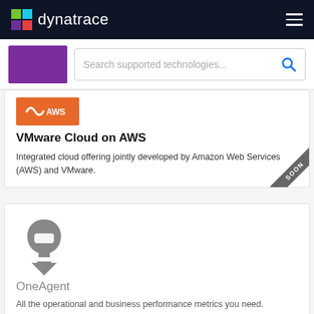dynatrace
[Figure (screenshot): Dynatrace logo with colorful cube icon and white text on dark navy background]
[Figure (screenshot): Search bar with purple box on left and placeholder text 'Search supported technologies...' with blue search icon]
[Figure (illustration): Orange AWS logo strip]
VMware Cloud on AWS
Integrated cloud offering jointly developed by Amazon Web Services (AWS) and VMware.
[Figure (illustration): Gray 'SOON' corner ribbon badge]
[Figure (logo): OneAgent icon - gray head/shield with downward chevron]
OneAgent
All the operational and business performance metrics you need.